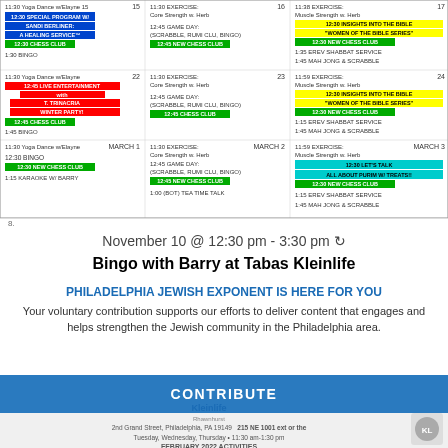[Figure (other): Monthly activity calendar for a Jewish community center (Tabas Kleinlife) showing events for multiple weeks in February/March 2022 with colored bars indicating different activities]
November 10 @ 12:30 pm - 3:30 pm ↻
Bingo with Barry at Tabas Kleinlife
PHILADELPHIA JEWISH EXPONENT IS HERE FOR YOU
Your voluntary contribution supports our efforts to deliver content that engages and helps strengthen the Jewish community in the Philadelphia area.
CONTRIBUTE
Kleinlife Rhawnhurst
2nd Grand Street, Philadelphia, PA 19149 215 NE 1001 ext or the Tuesday, Wednesday, Thursday • 11:30 am-1:30 pm
FEBRUARY 2022 ACTIVITIES
WALK INS WELCOME